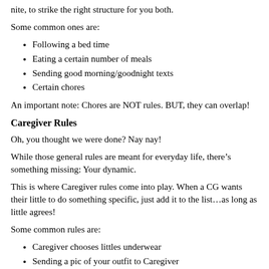nite, to strike the right structure for you both.
Some common ones are:
Following a bed time
Eating a certain number of meals
Sending good morning/goodnight texts
Certain chores
An important note: Chores are NOT rules. BUT, they can overlap!
Caregiver Rules
Oh, you thought we were done? Nay nay!
While those general rules are meant for everyday life, there’s something missing: Your dynamic.
This is where Caregiver rules come into play. When a CG wants their little to do something specific, just add it to the list…as long as little agrees!
Some common rules are:
Caregiver chooses littles underwear
Sending a pic of your outfit to Caregiver